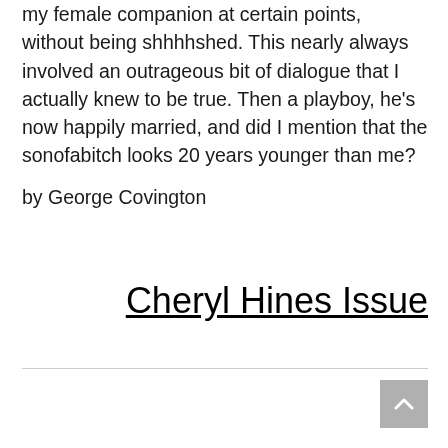my female companion at certain points, without being shhhhshed. This nearly always involved an outrageous bit of dialogue that I actually knew to be true. Then a playboy, he's now happily married, and did I mention that the sonofabitch looks 20 years younger than me?
by George Covington
Cheryl Hines Issue